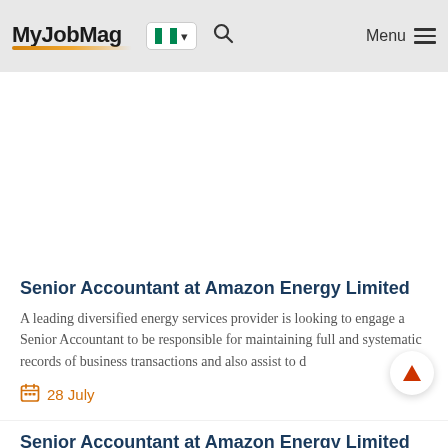MyJobMag — Nigeria — Menu
Senior Accountant at Amazon Energy Limited
A leading diversified energy services provider is looking to engage a Senior Accountant to be responsible for maintaining full and systematic records of business transactions and also assist to d
28 July
Senior Accountant at Amazon Energy Limited